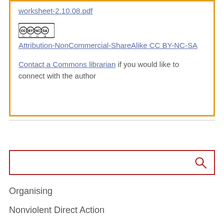worksheet-2.10.08.pdf
Attribution-NonCommercial-ShareAlike CC BY-NC-SA
Contact a Commons librarian if you would like to connect with the author
[Figure (other): Search input box with red border and search icon]
Organising
Nonviolent Direct Action